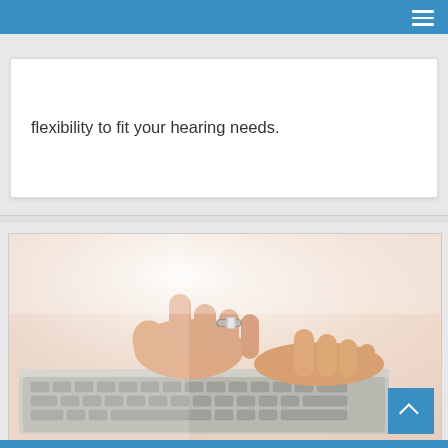flexibility to fit your hearing needs.
[Figure (photo): Close-up photo of a woman's hands with a ring, typing on a laptop keyboard, soft warm light background.]